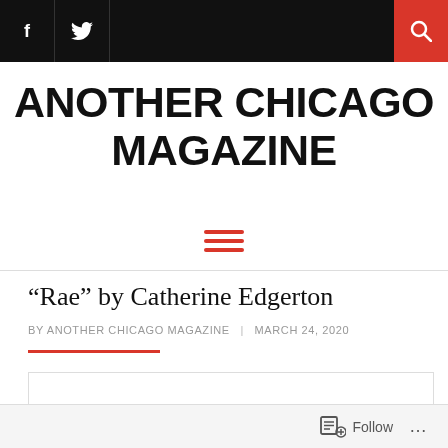f | (twitter icon) | (search icon)
ANOTHER CHICAGO MAGAZINE
[Figure (other): Hamburger menu icon made of three red horizontal lines]
“Rae” by Catherine Edgerton
BY ANOTHER CHICAGO MAGAZINE | MARCH 24, 2020
[Figure (other): Empty white content box with border, scroll-to-top chevron button]
Follow ...